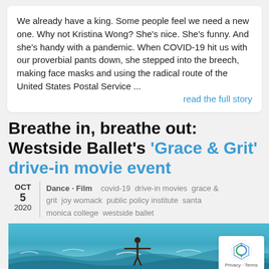We already have a king. Some people feel we need a new one. Why not Kristina Wong? She's nice. She's funny. And she's handy with a pandemic. When COVID-19 hit us with our proverbial pants down, she stepped into the breech, making face masks and using the radical route of the United States Postal Service ...
read the full story
Breathe in, breathe out: Westside Ballet's 'Grace & Grit' drive-in movie event
OCT 5 2020 | Dance · Film   covid-19  drive-in movies  grace & grit  joy womack  public policy institute  santa monica college  westside ballet
[Figure (photo): Ocean beach scene with a person standing in the water with arms outstretched, waves visible]